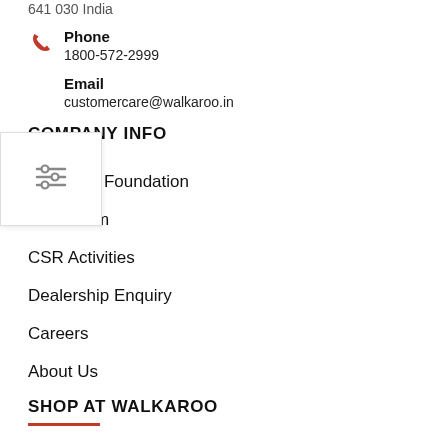641 030 India
Phone
1800-572-2999
Email
customercare@walkaroo.in
COMPANY INFO
Walkaroo Foundation
Newsroom
CSR Activities
Dealership Enquiry
Careers
About Us
SHOP AT WALKAROO